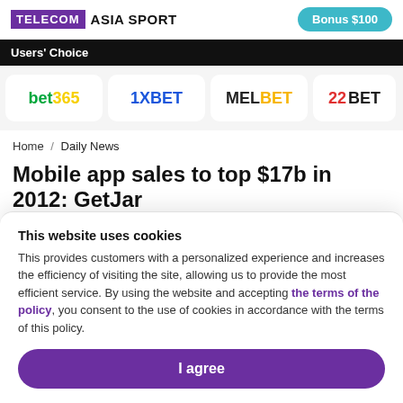TELECOM ASIA SPORT | Bonus $100
Users' Choice
[Figure (logo): Brand logos row: bet365, 1XBET, MELBET, 22BET]
Home / Daily News
Mobile app sales to top $17b in 2012: GetJar
Robert Clark
This website uses cookies
This provides customers with a personalized experience and increases the efficiency of visiting the site, allowing us to provide the most efficient service. By using the website and accepting the terms of the policy, you consent to the use of cookies in accordance with the terms of this policy.
I agree